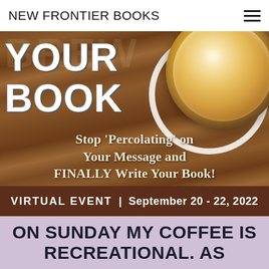NEW FRONTIER BOOKS
[Figure (photo): Promotional banner image for a book-writing virtual event. Background is a wooden table surface with bold white text reading 'YOUR BOOK' and a latte art coffee cup in the upper right. Text overlay reads 'Stop Percolating on Your Message and FINALLY Write Your Book!' with a dark brown bar at the bottom reading 'VIRTUAL EVENT | September 20 - 22, 2022'. Behind the banner the word BREW is faintly visible.]
ON SUNDAY MY COFFEE IS RECREATIONAL. AS